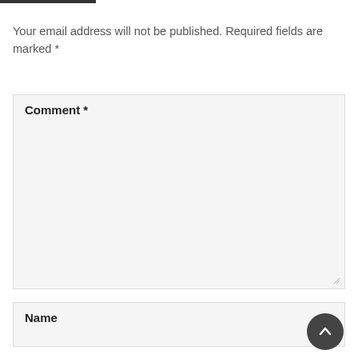Your email address will not be published. Required fields are marked *
Comment *
Name